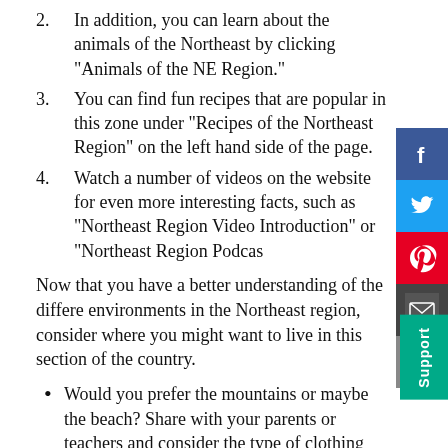2. In addition, you can learn about the animals of the Northeast by clicking "Animals of the NE Region."
3. You can find fun recipes that are popular in this zone under "Recipes of the Northeast Region" on the left hand side of the page.
4. Watch a number of videos on the website for even more interesting facts, such as "Northeast Region Video Introduction" or "Northeast Region Podcast"
Now that you have a better understanding of the different environments in the Northeast region, consider where you might want to live in this section of the country.
Would you prefer the mountains or maybe the beach? Share with your parents or teachers and consider the type of clothing you would require given the location and its environment.
Once you have shared your opinions, move on to the Got It? section to test your knowledge about the Northeast...